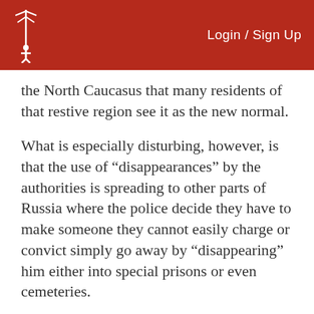Login / Sign Up
the North Caucasus that many residents of that restive region see it as the new normal.
What is especially disturbing, however, is that the use of “disappearances” by the authorities is spreading to other parts of Russia where the police decide they have to make someone they cannot easily charge or convict simply go away by “disappearing” him either into special prisons or even cemeteries.